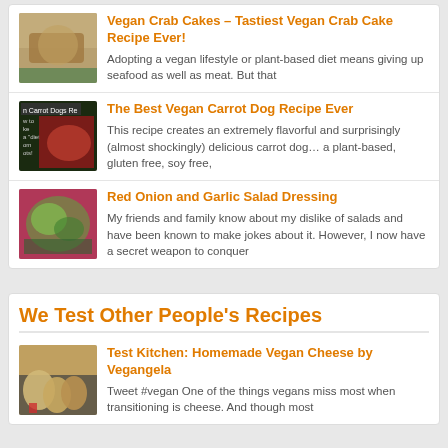Vegan Crab Cakes – Tastiest Vegan Crab Cake Recipe Ever! Adopting a vegan lifestyle or plant-based diet means giving up seafood as well as meat. But that
The Best Vegan Carrot Dog Recipe Ever This recipe creates an extremely flavorful and surprisingly (almost shockingly) delicious carrot dog… a plant-based, gluten free, soy free,
Red Onion and Garlic Salad Dressing My friends and family know about my dislike of salads and have been known to make jokes about it. However, I now have a secret weapon to conquer
We Test Other People's Recipes
Test Kitchen: Homemade Vegan Cheese by Vegangela Tweet #vegan One of the things vegans miss most when transitioning is cheese. And though most